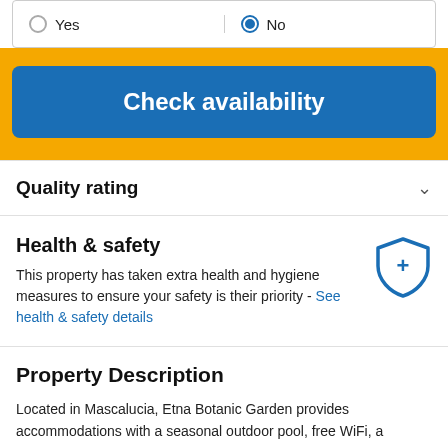Yes / No (radio buttons)
Check availability
Quality rating
Health & safety
This property has taken extra health and hygiene measures to ensure your safety is their priority - See health & safety details
Property Description
Located in Mascalucia, Etna Botanic Garden provides accommodations with a seasonal outdoor pool, free WiFi, a